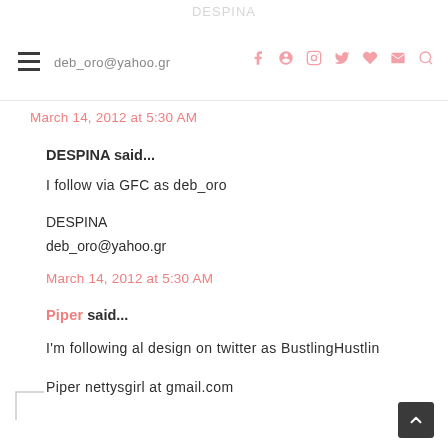DESPINA | deb_oro@yahoo.gr
March 14, 2012 at 5:30 AM
DESPINA said...
I follow via GFC as deb_oro
DESPINA
deb_oro@yahoo.gr
March 14, 2012 at 5:30 AM
Piper said...
I'm following al design on twitter as BustlingHustlin
Piper nettysgirl at gmail.com